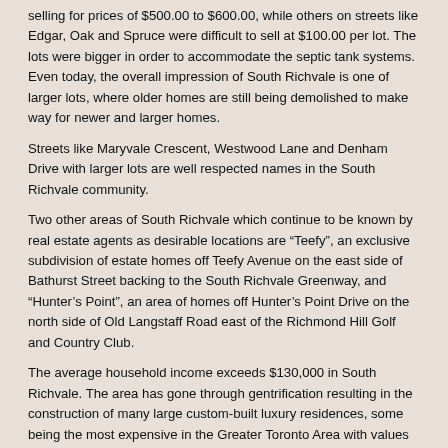selling for prices of $500.00 to $600.00, while others on streets like Edgar, Oak and Spruce were difficult to sell at $100.00 per lot. The lots were bigger in order to accommodate the septic tank systems. Even today, the overall impression of South Richvale is one of larger lots, where older homes are still being demolished to make way for newer and larger homes.
Streets like Maryvale Crescent, Westwood Lane and Denham Drive with larger lots are well respected names in the South Richvale community.
Two other areas of South Richvale which continue to be known by real estate agents as desirable locations are “Teefy”, an exclusive subdivision of estate homes off Teefy Avenue on the east side of Bathurst Street backing to the South Richvale Greenway, and “Hunter’s Point”, an area of homes off Hunter’s Point Drive on the north side of Old Langstaff Road east of the Richmond Hill Golf and Country Club.
The average household income exceeds $130,000 in South Richvale. The area has gone through gentrification resulting in the construction of many large custom-built luxury residences, some being the most expensive in the Greater Toronto Area with values up to $7 million.
[Figure (photo): Headshot photo of Andrea Hanak, a woman with dark hair]
Andrea Hanak
Andrea@DreasEstates.com
Phone: (905) 701-0000